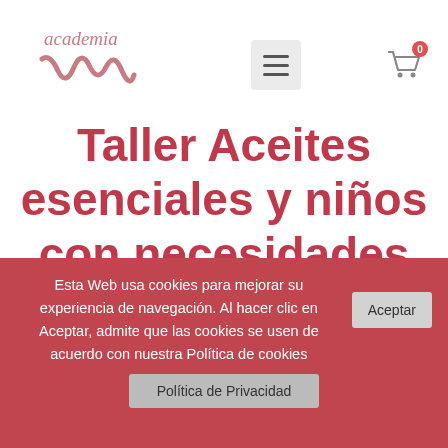[Figure (logo): Academia M handwritten script logo in pink/rose color]
Taller Aceites esenciales y niños con necesidades educativas especiales
Esta Web usa cookies para mejorar su experiencia de navegación. Al hacer clic en Aceptar, admite que las cookies se usen de acuerdo con nuestra Política de cookies
Aceptar
Política de Privacidad